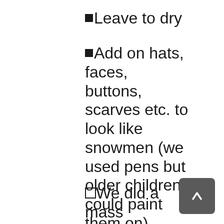■Leave to dry
■Add on hats, faces, buttons, scarves etc. to look like snowmen (we used pens but older children could paint them on)
□We did a mass production